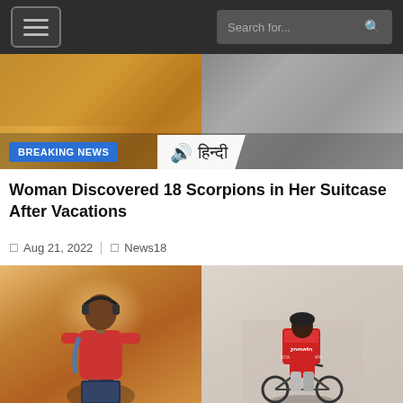Search for...
[Figure (photo): Breaking news banner image showing food and a person using phone. Banner includes BREAKING NEWS label in blue and Hindi text badge.]
Woman Discovered 18 Scorpions in Her Suitcase After Vacations
Aug 21, 2022  News18
[Figure (photo): Two side-by-side photos: left shows a young person wearing headphones and a red shirt with a backpack, right shows a Zomato delivery person on a bicycle with a red Zomato delivery bag.]